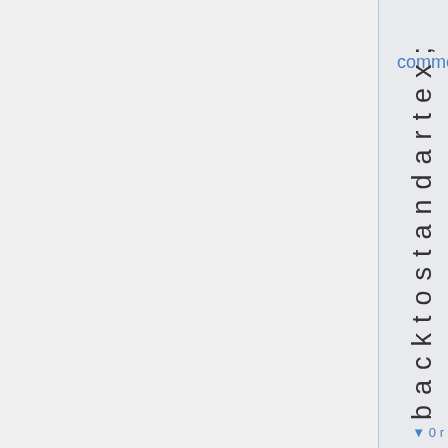comment
back to standard tex;
▼ 0 r